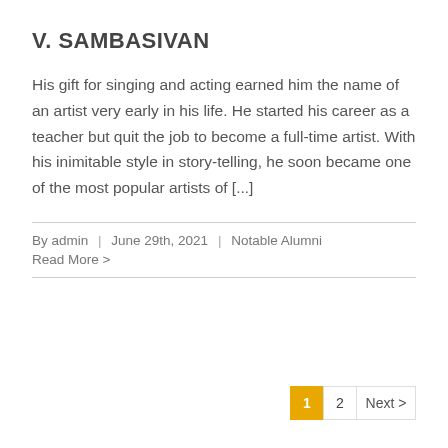V. SAMBASIVAN
His gift for singing and acting earned him the name of an artist very early in his life. He started his career as a teacher but quit the job to become a full-time artist. With his inimitable style in story-telling, he soon became one of the most popular artists of [...]
By admin | June 29th, 2021 | Notable Alumni
Read More >